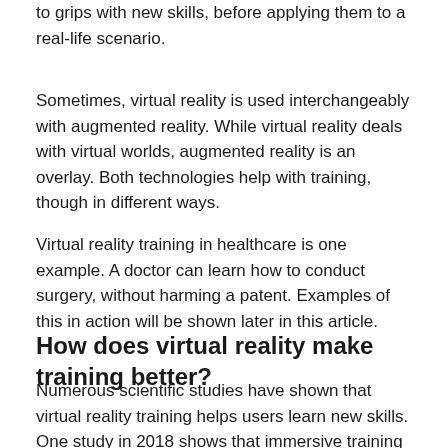to grips with new skills, before applying them to a real-life scenario.
Sometimes, virtual reality is used interchangeably with augmented reality. While virtual reality deals with virtual worlds, augmented reality is an overlay. Both technologies help with training, though in different ways.
Virtual reality training in healthcare is one example. A doctor can learn how to conduct surgery, without harming a patent. Examples of this in action will be shown later in this article.
How does virtual reality make training better?
Numerous scientific studies have shown that virtual reality training helps users learn new skills. One study in 2018 shows that immersive training is an inexpensive and effective way to teach fire prevention among professionals.
Another study in 2018, from the University of Illinois, covers